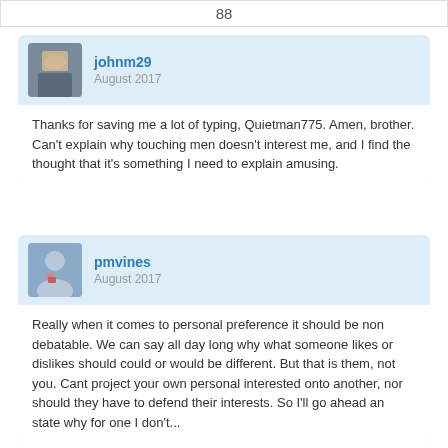88
johnm29
August 2017
Thanks for saving me a lot of typing, Quietman775. Amen, brother. Can't explain why touching men doesn't interest me, and I find the thought that it's something I need to explain amusing.
pmvines
August 2017
Really when it comes to personal preference it should be non debatable. We can say all day long why what someone likes or dislikes should could or would be different. But that is them, not you. Cant project your own personal interested onto another, nor should they have to defend their interests. So I'll go ahead an state why for one I don't...